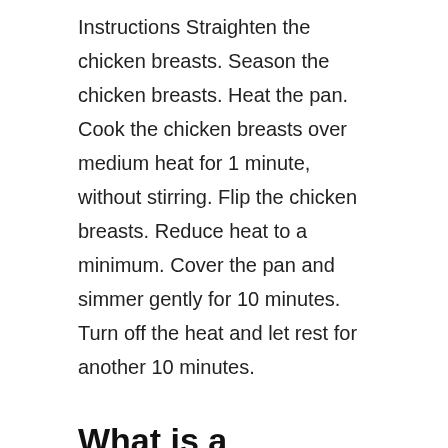Instructions Straighten the chicken breasts. Season the chicken breasts. Heat the pan. Cook the chicken breasts over medium heat for 1 minute, without stirring. Flip the chicken breasts. Reduce heat to a minimum. Cover the pan and simmer gently for 10 minutes. Turn off the heat and let rest for another 10 minutes.
What is a Healthier Roast or Roast Chicken?
However, will chicken breasts roast this...